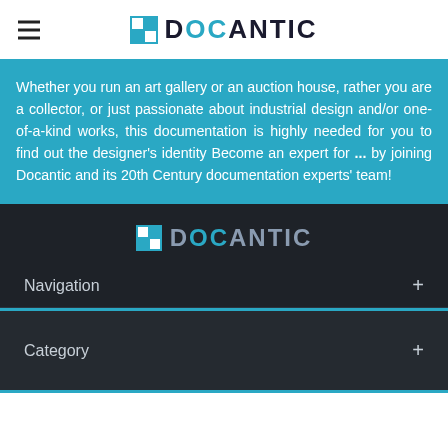DOCANTIC
Whether you run an art gallery or an auction house, rather you are a collector, or just passionate about industrial design and/or one-of-a-kind works, this documentation is highly needed for you to find out the designer's identity Become an expert for ... by joining Docantic and its 20th Century documentation experts' team!
[Figure (logo): Docantic logo in dark footer area — white square icon with blue squares, text DOCANTIC in grey with OC in teal]
Navigation +
Category +